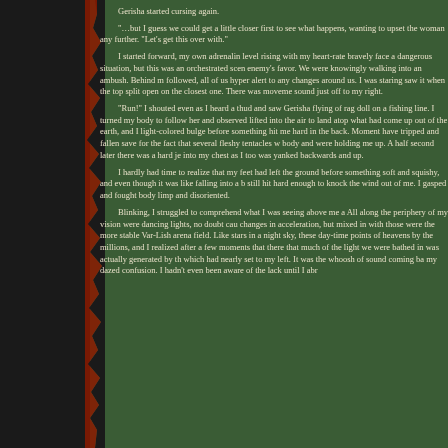Gerisha started cursing again.

"…but I guess we could get a little closer first to see what happens, wanting to upset the woman any further. "Let's get this over with."

I started forward, my own adrenalin level rising with my heart-rate. I was trained to bravely face a dangerous situation, but this was an orchestrated scene designed to play to the enemy's favor. We were knowingly walking into an ambush. Behind me the rest of the team followed, all of us hyper alert to any changes around us. I was staring at the pods ahead when I saw it when the top split open on the closest one. There was movement inside, and I heard a sound just off to my right.

"Run!" I shouted even as I heard a thud and saw Gerisha flying off to my right like a rag doll on a fishing line. I turned my body to follow her and observed that she had been lifted into the air to land atop what had come up out of the earth, and I caught a glimpse of a light-colored bulge before something hit me hard in the back. Momentarily I would have have tripped and fallen save for the fact that several fleshy tentacles were wrapped around my body and were holding me up. A half second later there was a hard jerk that sent pain into my chest as I too was yanked backwards and up.

I hardly had time to realize that my feet had left the ground before I landed hard on something soft and squishy, and even though it was like falling into a bowl of jello, I still hit hard enough to knock the wind out of me. I gasped and fought to keep my body limp and disoriented.

Blinking, I struggled to comprehend what I was seeing above me as I lay on my back. All along the periphery of my vision were dancing lights, no doubt caused by rapid changes in acceleration, but mixed in with those were the more stable light-points of the Var-Lish arena field. Like stars in a night sky, these day-time points of light filled the heavens by the millions, and I realized after a few moments that there were so many that much of the light we were bathed in was actually generated by the arena field itself, which had nearly set to my left. It was the whoosh of sound coming back that broke my dazed confusion. I hadn't even been aware of the lack until I abruptly